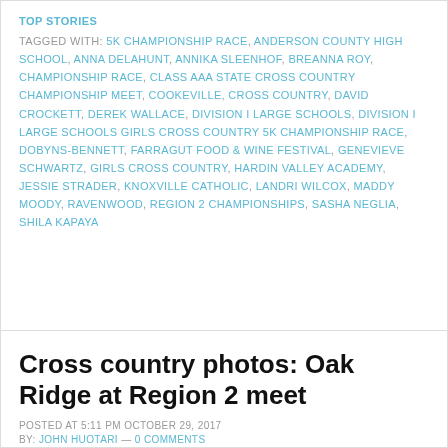TOP STORIES
TAGGED WITH: 5K CHAMPIONSHIP RACE, ANDERSON COUNTY HIGH SCHOOL, ANNA DELAHUNT, ANNIKA SLEENHOF, BREANNA ROY, CHAMPIONSHIP RACE, CLASS AAA STATE CROSS COUNTRY CHAMPIONSHIP MEET, COOKEVILLE, CROSS COUNTRY, DAVID CROCKETT, DEREK WALLACE, DIVISION I LARGE SCHOOLS, DIVISION I LARGE SCHOOLS GIRLS CROSS COUNTRY 5K CHAMPIONSHIP RACE, DOBYNS-BENNETT, FARRAGUT FOOD & WINE FESTIVAL, GENEVIEVE SCHWARTZ, GIRLS CROSS COUNTRY, HARDIN VALLEY ACADEMY, JESSIE STRADER, KNOXVILLE CATHOLIC, LANDRI WILCOX, MADDY MOODY, RAVENWOOD, REGION 2 CHAMPIONSHIPS, SASHA NEGLIA, SHILA KAPAYA
Cross country photos: Oak Ridge at Region 2 meet
POSTED AT 5:11 PM OCTOBER 29, 2017
BY: JOHN HUOTARI — 0 COMMENTS